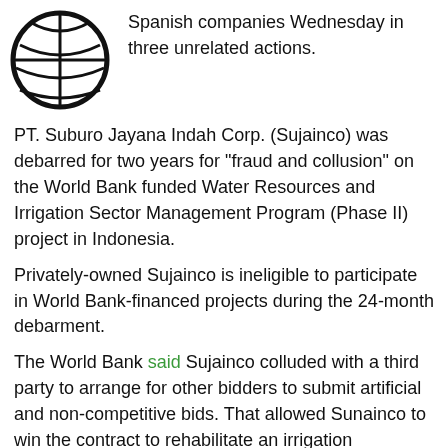[Figure (logo): World Bank globe logo, black and white, partial view at top-left corner]
Spanish companies Wednesday in three unrelated actions.
PT. Suburo Jayana Indah Corp. (Sujainco) was debarred for two years for “fraud and collusion” on the World Bank funded Water Resources and Irrigation Sector Management Program (Phase II) project in Indonesia.
Privately-owned Sujainco is ineligible to participate in World Bank-financed projects during the 24-month debarment.
The World Bank said Sujainco colluded with a third party to arrange for other bidders to submit artificial and non-competitive bids. That allowed Sunainco to win the contract to rehabilitate an irrigation management system in Indonesia.